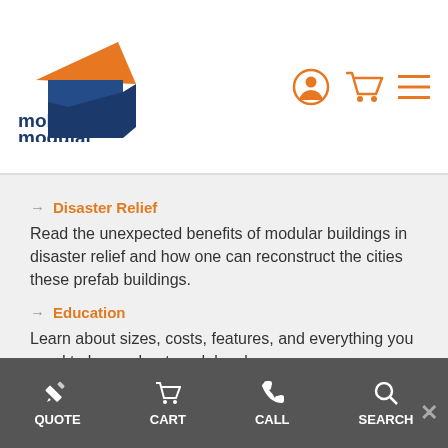[Figure (logo): Mobile Modular logo with orange roof shape and dark blue building shape, text reads 'mobile modular']
[Figure (infographic): Navigation icons: user/account icon (orange circle outline), shopping cart (orange), hamburger menu (orange lines)]
→ Disaster Relief
Read the unexpected benefits of modular buildings in disaster relief and how one can reconstruct the cities these prefab buildings.
→ Education
Learn about sizes, costs, features, and everything you need to know about modular classrooms.
→ Government
How are modular buildings - mobile offices, sales offices, complexes, restrooms beneficial for government projects? Get
[Figure (infographic): Bottom navigation bar with icons and labels: QUOTE (pencil), CART (cart), CALL (phone), SEARCH (magnifier)]